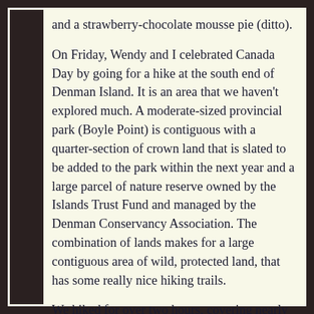and a strawberry-chocolate mousse pie (ditto).
On Friday, Wendy and I celebrated Canada Day by going for a hike at the south end of Denman Island. It is an area that we haven't explored much. A moderate-sized provincial park (Boyle Point) is contiguous with a quarter-section of crown land that is slated to be added to the park within the next year and a large parcel of nature reserve owned by the Islands Trust Fund and managed by the Denman Conservancy Association. The combination of lands makes for a large contiguous area of wild, protected land, that has some really nice hiking trails.
We hiked for over two hours, covering nearly nine kilometres, exploring several of the trails. We turned back for lack of time, but we plan to return to continue the exploration. We never did get to the end of the main trail we were on, so we have to see where it ends up.
Today was the day for the annual Firefighters' Pancake Breakfast. It is the biggest single